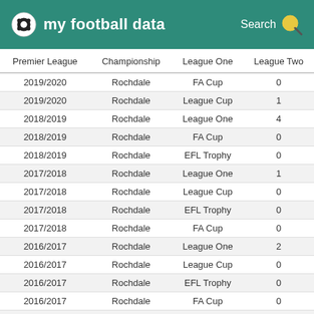my football data
| Premier League | Championship | League One | League Two |
| --- | --- | --- | --- |
| 2019/2020 | Rochdale | FA Cup | 0 |
| 2019/2020 | Rochdale | League Cup | 1 |
| 2018/2019 | Rochdale | League One | 4 |
| 2018/2019 | Rochdale | FA Cup | 0 |
| 2018/2019 | Rochdale | EFL Trophy | 0 |
| 2017/2018 | Rochdale | League One | 1 |
| 2017/2018 | Rochdale | League Cup | 0 |
| 2017/2018 | Rochdale | EFL Trophy | 0 |
| 2017/2018 | Rochdale | FA Cup | 0 |
| 2016/2017 | Rochdale | League One | 2 |
| 2016/2017 | Rochdale | League Cup | 0 |
| 2016/2017 | Rochdale | EFL Trophy | 0 |
| 2016/2017 | Rochdale | FA Cup | 0 |
| 2019/2020 | Rochdale | League One | 2 |
| 2018/2019 | Rochdale | League Cup | 2 |